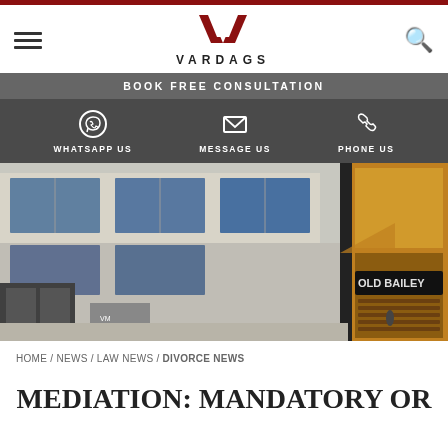VARDAGS
BOOK FREE CONSULTATION
WHATSAPP US | MESSAGE US | PHONE US
[Figure (photo): Street-level photograph of a modern glass office building with 'OLD BAILEY' sign visible on the right side. The Vardags law firm logo appears on a door on the left.]
HOME / NEWS / LAW NEWS / DIVORCE NEWS
MEDIATION: MANDATORY OR